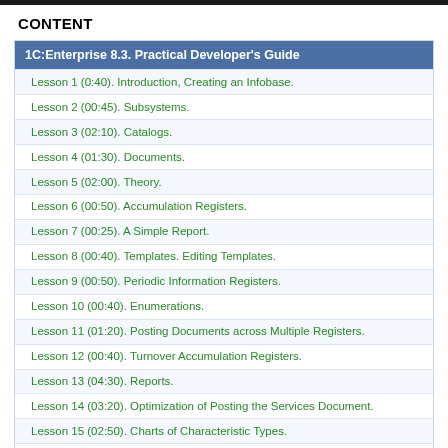CONTENT
1C:Enterprise 8.3. Practical Developer's Guide
Lesson 1 (0:40). Introduction, Creating an Infobase.
Lesson 2 (00:45). Subsystems.
Lesson 3 (02:10). Catalogs.
Lesson 4 (01:30). Documents.
Lesson 5 (02:00). Theory.
Lesson 6 (00:50). Accumulation Registers.
Lesson 7 (00:25). A Simple Report.
Lesson 8 (00:40). Templates. Editing Templates.
Lesson 9 (00:50). Periodic Information Registers.
Lesson 10 (00:40). Enumerations.
Lesson 11 (01:20). Posting Documents across Multiple Registers.
Lesson 12 (00:40). Turnover Accumulation Registers.
Lesson 13 (04:30). Reports.
Lesson 14 (03:20). Optimization of Posting the Services Document.
Lesson 15 (02:50). Charts of Characteristic Types.
Lesson 16 (01:50). Accounting.